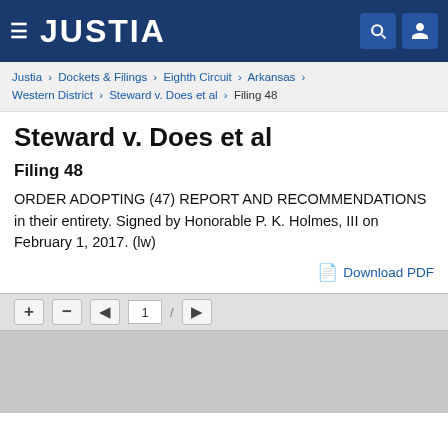JUSTIA
Justia › Dockets & Filings › Eighth Circuit › Arkansas › Western District › Steward v. Does et al › Filing 48
Steward v. Does et al
Filing 48
ORDER ADOPTING (47) REPORT AND RECOMMENDATIONS in their entirety. Signed by Honorable P. K. Holmes, III on February 1, 2017. (lw)
Download PDF
[Figure (screenshot): PDF viewer toolbar with navigation buttons (+, -, back arrow, page number input showing '1', forward slash, forward arrow) and a grey document viewing area below]